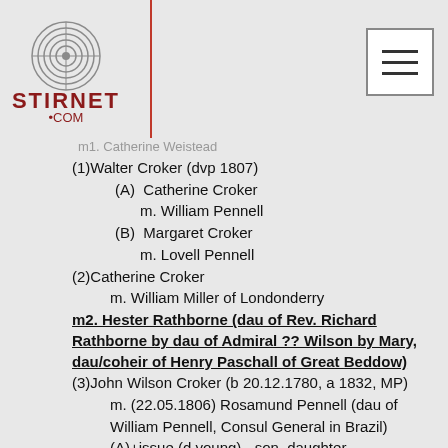[Figure (logo): Stirnet.com logo with fingerprint graphic and red text]
m1. Catherine Welstead
(1) Walter Croker (dvp 1807)
(A) Catherine Croker
m. William Pennell
(B) Margaret Croker
m. Lovell Pennell
(2) Catherine Croker
m. William Miller of Londonderry
m2. Hester Rathborne (dau of Rev. Richard Rathborne by dau of Admiral ?? Wilson by Mary, dau/coheir of Henry Paschall of Great Beddow)
(3) John Wilson Croker (b 20.12.1780, a 1832, MP)
m. (22.05.1806) Rosamund Pennell (dau of William Pennell, Consul General in Brazil)
(A)+issue (d young) - son, daughter
(4) Sarah Croker (d 1820/1816)
m. (1815) J.T. Bond (Dean of Ross)
ii. John Croker of Airhill had male issue
iii. William Croker of Johnstown